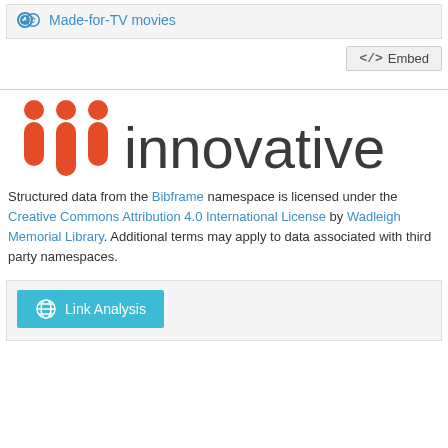⚙ Made-for-TV movies
</> Embed
[Figure (logo): Innovative Interfaces logo with three red bar-chart-like columns and the word 'innovative' in dark gray]
Structured data from the Bibframe namespace is licensed under the Creative Commons Attribution 4.0 International License by Wadleigh Memorial Library. Additional terms may apply to data associated with third party namespaces.
🌐 Link Analysis